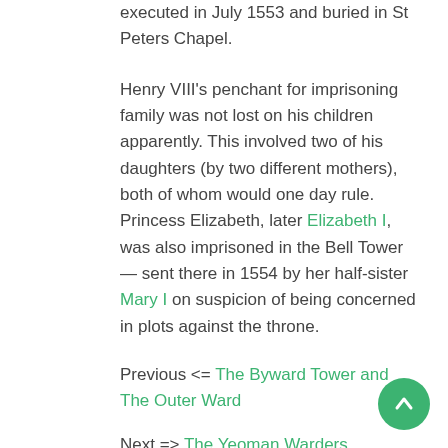executed in July 1553 and buried in St Peters Chapel.
Henry VIII's penchant for imprisoning family was not lost on his children apparently. This involved two of his daughters (by two different mothers), both of whom would one day rule. Princess Elizabeth, later Elizabeth I, was also imprisoned in the Bell Tower — sent there in 1554 by her half-sister Mary I on suspicion of being concerned in plots against the throne.
Previous <= The Byward Tower and The Outer Ward
Next => The Yeoman Warders